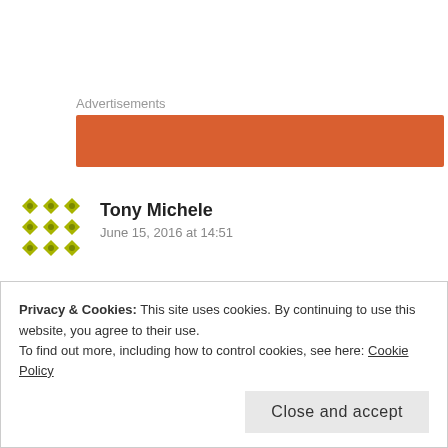Advertisements
[Figure (other): Orange/red advertisement banner placeholder]
[Figure (other): Green geometric avatar icon for user Tony Michele]
Tony Michele
June 15, 2016 at 14:51
Hmmm. Indeed, all it takes sometimes is just the will – mostly fuelled by need or deep want.
Boarding house experience made me have a ‘knee jerk’
Privacy & Cookies: This site uses cookies. By continuing to use this website, you agree to their use.
To find out more, including how to control cookies, see here: Cookie Policy
Close and accept